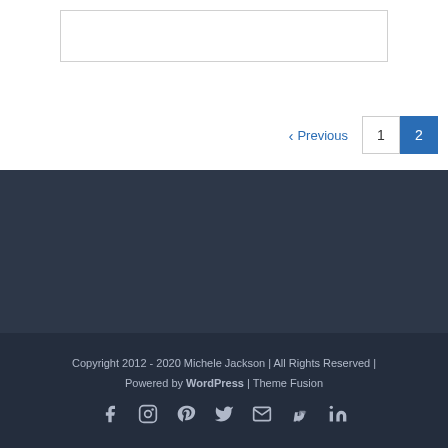‹ Previous | 1 | 2
Copyright 2012 - 2020 Michele Jackson | All Rights Reserved | Powered by WordPress | Theme Fusion
Social icons: Facebook, Instagram, Pinterest, Twitter, Email, PayPal, LinkedIn